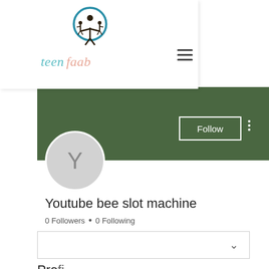[Figure (logo): Teen Faab website logo: circular icon with human figures above the brand name 'teen faab' in teal and salmon cursive script, with a hamburger menu icon to the right]
[Figure (screenshot): Social profile page showing a dark green banner, a circular avatar placeholder with letter Y, a Follow button, a three-dot menu, username 'Youtube bee slot machine', follower/following counts, a dropdown box, and a 'Profile' section label]
Youtube bee slot machine
0 Followers • 0 Following